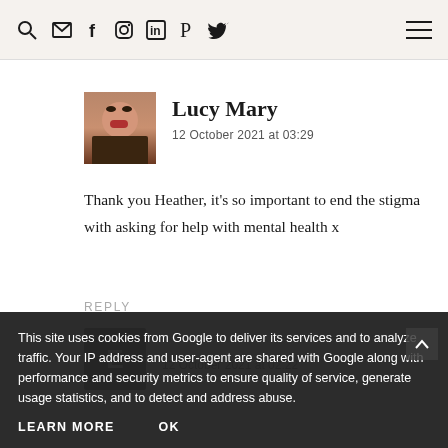Navigation bar with search, email, facebook, instagram, linkedin, pinterest, twitter icons and hamburger menu
Lucy Mary
12 October 2021 at 03:29
Thank you Heather, it's so important to end the stigma with asking for help with mental health x
REPLY
This site uses cookies from Google to deliver its services and to analyze traffic. Your IP address and user-agent are shared with Google along with performance and security metrics to ensure quality of service, generate usage statistics, and to detect and address abuse.
LEARN MORE
OK